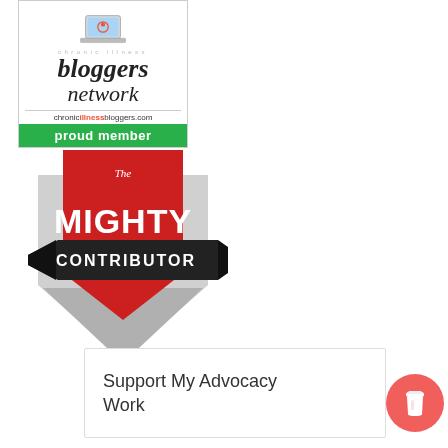[Figure (logo): Chronic Illness Bloggers Network badge with laptop icon, text 'bloggers network', URL 'chronicilnessbloggers.com', and green 'proud member' banner]
[Figure (logo): The Mighty Contributor badge - red shield shape with black ribbon banner, white text 'The MIGHTY CONTRIBUTOR']
Support My Advocacy Work
[Figure (illustration): Red/coral circular button with coffee cup icon]